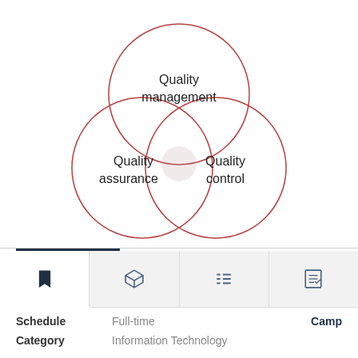[Figure (infographic): Venn diagram with three overlapping circles: Quality management (top), Quality assurance (bottom-left), Quality control (bottom-right)]
[Figure (infographic): UI tab bar with four icons: bookmark, 3D box, list, and document/checklist. First tab is active (white background, dark top border).]
Schedule   Full-time   Camp
Category   Information Technology